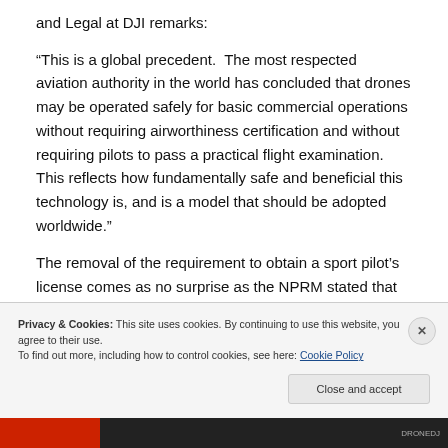and Legal at DJI remarks:
“This is a global precedent.  The most respected aviation authority in the world has concluded that drones may be operated safely for basic commercial operations without requiring airworthiness certification and without requiring pilots to pass a practical flight examination.  This reflects how fundamentally safe and beneficial this technology is, and is a model that should be adopted worldwide.”
The removal of the requirement to obtain a sport pilot’s license comes as no surprise as the NPRM stated that the
Privacy & Cookies: This site uses cookies. By continuing to use this website, you agree to their use.
To find out more, including how to control cookies, see here: Cookie Policy
Close and accept